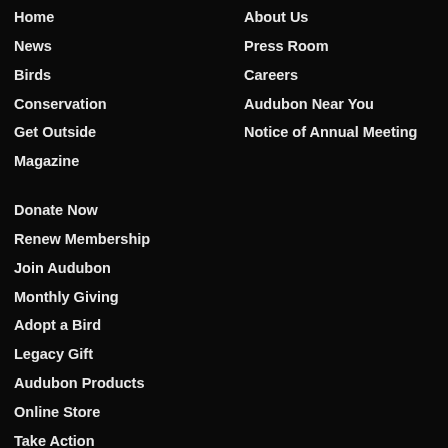Home
News
Birds
Conservation
Get Outside
Magazine
Donate Now
Renew Membership
Join Audubon
Monthly Giving
Adopt a Bird
Legacy Gift
Audubon Products
Online Store
Take Action
About Us
Press Room
Careers
Audubon Near You
Notice of Annual Meeting